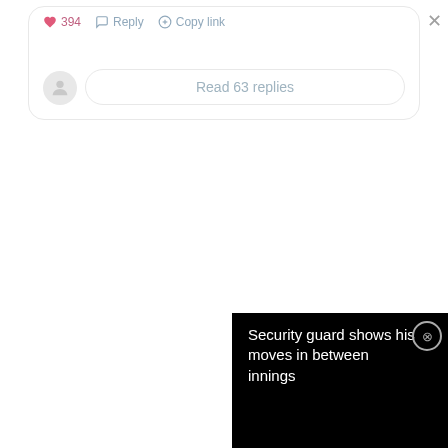Read 63 replies
[Figure (screenshot): Video thumbnail showing a security guard dancing at a baseball stadium. Yellow and blue padding visible in background. T-Mobile 5G Coverage Cam badge in bottom left corner. Person in white shirt visible.]
Security guard shows his moves in between innings